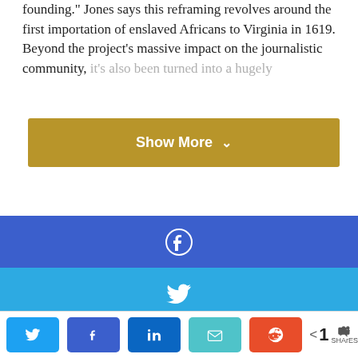founding." Jones says this reframing revolves around the first importation of enslaved Africans to Virginia in 1619. Beyond the project's massive impact on the journalistic community, it's also been turned into a hugely
[Figure (screenshot): Golden/tan 'Show More' button with chevron down arrow]
[Figure (screenshot): Social share overlay bars: Facebook (blue), Twitter (light blue), WhatsApp (green), Telegram (blue), with heart icon and share count badge of 1]
[Figure (screenshot): Bottom share bar with Twitter, Facebook, LinkedIn, Email, Reddit buttons and share count of 1 SHArES]